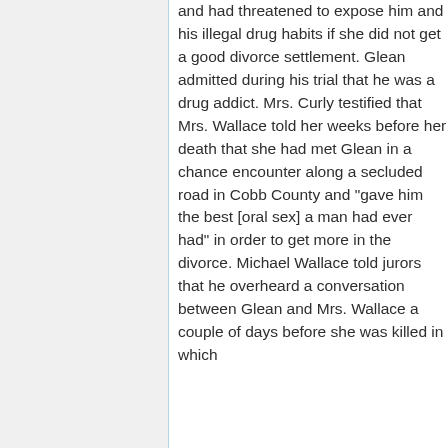and had threatened to expose him and his illegal drug habits if she did not get a good divorce settlement. Glean admitted during his trial that he was a drug addict. Mrs. Curly testified that Mrs. Wallace told her weeks before her death that she had met Glean in a chance encounter along a secluded road in Cobb County and "gave him the best [oral sex] a man had ever had" in order to get more in the divorce. Michael Wallace told jurors that he overheard a conversation between Glean and Mrs. Wallace a couple of days before she was killed in which